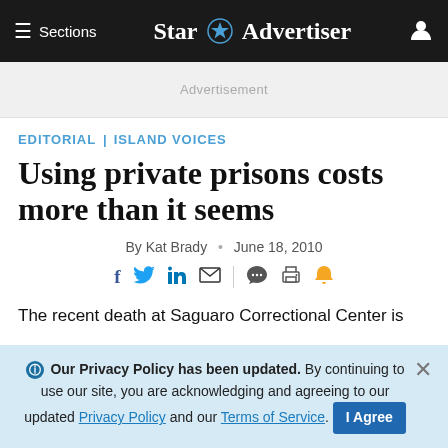≡ Sections  Star Advertiser
Advertisement
EDITORIAL | ISLAND VOICES
Using private prisons costs more than it seems
By Kat Brady · June 18, 2010
The recent death at Saguaro Correctional Center is
Our Privacy Policy has been updated. By continuing to use our site, you are acknowledging and agreeing to our updated Privacy Policy and our Terms of Service. I Agree